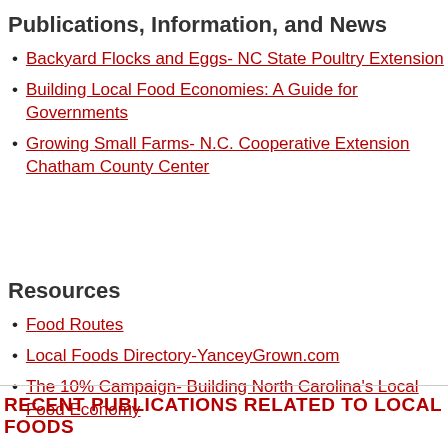Publications, Information, and News
Backyard Flocks and Eggs- NC State Poultry Extension
Building Local Food Economies: A Guide for Governments
Growing Small Farms- N.C. Cooperative Extension Chatham County Center
Resources
Food Routes
Local Foods Directory-YanceyGrown.com
The 10% Campaign- Building North Carolina's Local Food Economy
RECENT PUBLICATIONS RELATED TO LOCAL FOODS